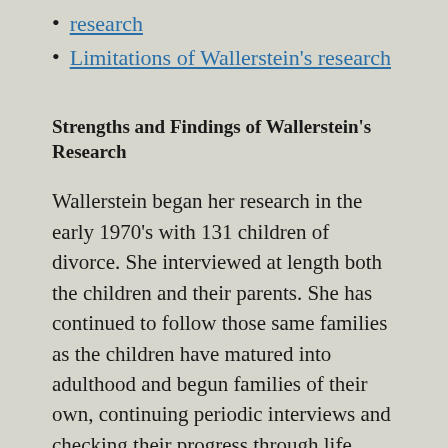research
Limitations of Wallerstein's research
Strengths and Findings of Wallerstein's Research
Wallerstein began her research in the early 1970's with 131 children of divorce. She interviewed at length both the children and their parents. She has continued to follow those same families as the children have matured into adulthood and begun families of their own, continuing periodic interviews and checking their progress through life. Wallerstein's research is different from its predecessors because it continued for so long after the actual divorce. Her research is the